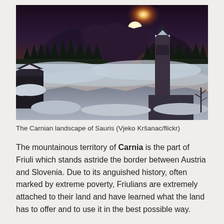[Figure (photo): Panoramic winter photograph of the Carnian landscape of Sauris: a snowy mountain village scene at sunrise or sunset with fog filling the valley below, a church steeple on the right, pine trees, and dramatic sky with sun breaking through clouds over snow-covered peaks.]
The Carnian landscape of Sauris (Vjeko Kršanac/flickr)
The mountainous territory of Carnia is the part of Friuli which stands astride the border between Austria and Slovenia. Due to its anguished history, often marked by extreme poverty, Friulians are extremely attached to their land and have learned what the land has to offer and to use it in the best possible way.